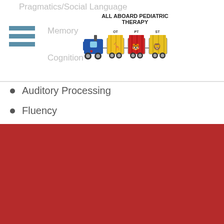[Figure (logo): All Aboard Pediatric Therapy logo with a colorful train carrying animals]
Pragmatics/Social Language
Memory
Cognition
Auditory Processing
Fluency
SPRINGDALE, ARKANSAS CLINIC
All Aboard Pediatric Therapy 5230 Willow Creek Dr Suite 101 Springdale, AR 72762
CLICK FOR DRIVING DIRECTIONS